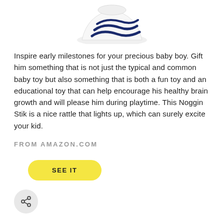[Figure (photo): Partial view of a white baby rattle toy (Noggin Stik) with dark blue spiral lines, showing the bottom portion of the product against a white background]
Inspire early milestones for your precious baby boy. Gift him something that is not just the typical and common baby toy but also something that is both a fun toy and an educational toy that can help encourage his healthy brain growth and will please him during playtime. This Noggin Stik is a nice rattle that lights up, which can surely excite your kid.
FROM AMAZON.COM
SEE IT
[Figure (illustration): A circular gray share button icon with a share/network symbol]